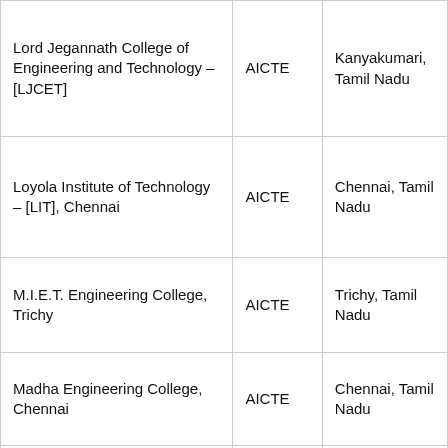| Lord Jegannath College of Engineering and Technology – [LJCET] | AICTE | Kanyakumari, Tamil Nadu |
| Loyola Institute of Technology – [LIT], Chennai | AICTE | Chennai, Tamil Nadu |
| M.I.E.T. Engineering College, Trichy | AICTE | Trichy, Tamil Nadu |
| Madha Engineering College, Chennai | AICTE | Chennai, Tamil Nadu |
| Madha Institute of Engineering And Technology – [MIET], Chennai | AICTE | Chennai, Tamil Nadu |